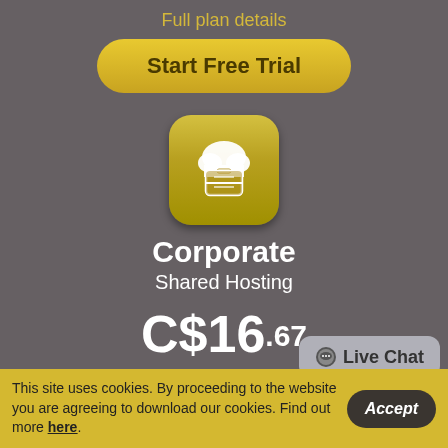Full plan details
Start Free Trial
[Figure (illustration): Gold rounded-square icon with a white cloud and briefcase/document symbol inside]
Corporate
Shared Hosting
C$16.67 (per month)
Unlimited Disk Space
Unlimited Monthly Traffic
Affordable Domains
Live Chat
This site uses cookies. By proceeding to the website you are agreeing to download our cookies. Find out more here.
Accept